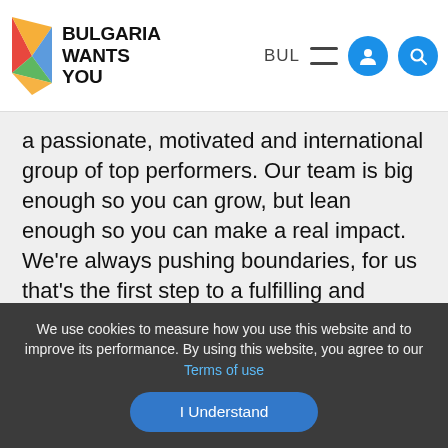BULGARIA WANTS YOU
a passionate, motivated and international group of top performers. Our team is big enough so you can grow, but lean enough so you can make a real impact. We're always pushing boundaries, for us that's the first step to a fulfilling and rewarding career. We move fast and we are not afraid of making mistakes or adapting. We believe no problem is too big to solve. We also believe everyone is an owner, which gives all of us at Daye the scope and space to grow. For this we offer:
We use cookies to measure how you use this website and to improve its performance. By using this website, you agree to our Terms of use